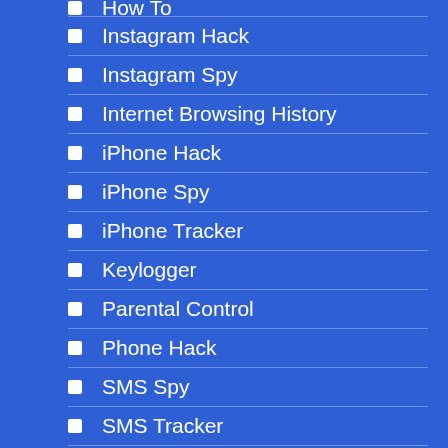How To
Instagram Hack
Instagram Spy
Internet Browsing History
iPhone Hack
iPhone Spy
iPhone Tracker
Keylogger
Parental Control
Phone Hack
SMS Spy
SMS Tracker